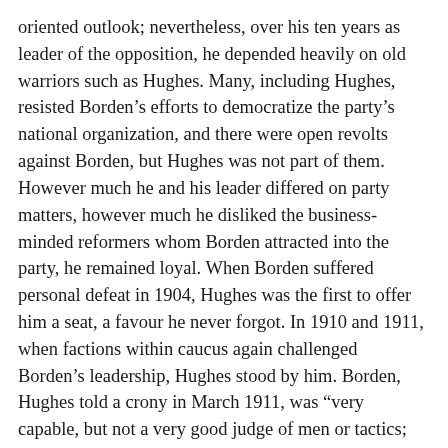oriented outlook; nevertheless, over his ten years as leader of the opposition, he depended heavily on old warriors such as Hughes. Many, including Hughes, resisted Borden's efforts to democratize the party's national organization, and there were open revolts against Borden, but Hughes was not part of them. However much he and his leader differed on party matters, however much he disliked the business-minded reformers whom Borden attracted into the party, he remained loyal. When Borden suffered personal defeat in 1904, Hughes was the first to offer him a seat, a favour he never forgot. In 1910 and 1911, when factions within caucus again challenged Borden's leadership, Hughes stood by him. Borden, Hughes told a crony in March 1911, was “very capable, but not a very good judge of men or tactics; and is gentle hearted as a girl.”
In the early and middle years of the Laurier period, the government, led by its capable minister of militia and defence, Frederick Borden, had initiated a number of reforms designed to